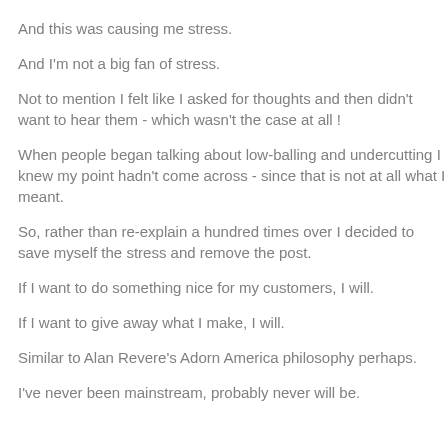And this was causing me stress.
And I'm not a big fan of stress.
Not to mention I felt like I asked for thoughts and then didn't want to hear them - which wasn't the case at all !
When people began talking about low-balling and undercutting I knew my point hadn't come across - since that is not at all what I meant.
So, rather than re-explain a hundred times over I decided to save myself the stress and remove the post.
If I want to do something nice for my customers, I will.
If I want to give away what I make, I will.
Similar to Alan Revere's Adorn America philosophy perhaps.
I've never been mainstream, probably never will be.